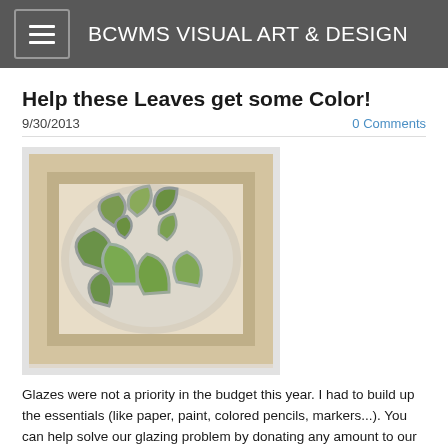BCWMS VISUAL ART & DESIGN
Help these Leaves get some Color!
9/30/2013
0 Comments
[Figure (photo): Ceramic leaf sculptures arranged on a plate, glazed in green with grey borders, inside a kiln or wooden frame]
Glazes were not a priority in the budget this year. I had to build up the essentials (like paper, paint, colored pencils, markers...). You can help solve our glazing problem by donating any amount to our new